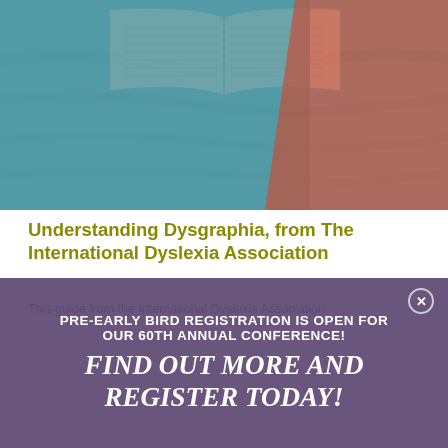[Figure (photo): Open book on teal/blue fabric surface with teal overlay on left and red/coral overlay on right side]
Understanding Dysgraphia, from The International Dyslexia Association
This guide from the International Dyslexia Association
PRE-EARLY BIRD REGISTRATION IS OPEN FOR OUR 60TH ANNUAL CONFERENCE!
FIND OUT MORE AND REGISTER TODAY!